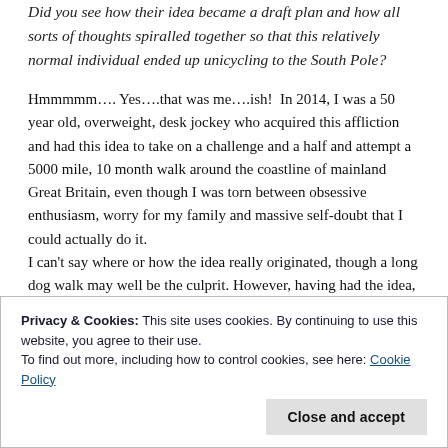Did you see how their idea became a draft plan and how all sorts of thoughts spiralled together so that this relatively normal individual ended up unicycling to the South Pole?
Hmmmmm…. Yes….that was me….ish! In 2014, I was a 50 year old, overweight, desk jockey who acquired this affliction and had this idea to take on a challenge and a half and attempt a 5000 mile, 10 month walk around the coastline of mainland Great Britain, even though I was torn between obsessive enthusiasm, worry for my family and massive self-doubt that I could actually do it. I can't say where or how the idea really originated, though a long dog walk may well be the culprit. However, having had the idea, I've read a fair few books and blogs from people who have completed
Privacy & Cookies: This site uses cookies. By continuing to use this website, you agree to their use.
To find out more, including how to control cookies, see here: Cookie Policy
Close and accept